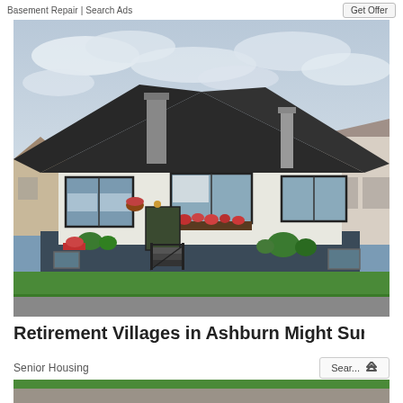Basement Repair | Search Ads
[Figure (photo): Exterior photo of a single-storey bungalow house with dark charcoal hip roof, white stucco upper walls, dark navy lower cladding, front entrance stairs with iron railings, window boxes with flowers, green lawn, street visible in foreground, cloudy sky, neighboring houses visible on sides.]
Retirement Villages in Ashburn Might Surprise Yo...
Senior Housing
[Figure (photo): Partial photo visible at the bottom of the page, cut off.]